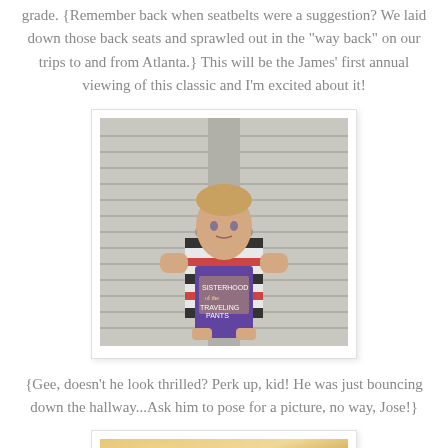grade. {Remember back when seatbelts were a suggestion? We laid down those back seats and sprawled out in the "way back" on our trips to and from Atlanta.} This will be the James' first annual viewing of this classic and I'm excited about it!
[Figure (photo): A young boy with blond hair wearing a striped shirt, holding a DVD/VHS case, standing in front of louvered doors.]
{Gee, doesn't he look thrilled? Perk up, kid! He was just bouncing down the hallway...Ask him to pose for a picture, no way, Jose!}
[Figure (photo): Partial photo at bottom of page, showing a warm-toned blurred image (appears to be a person or object, cropped).]